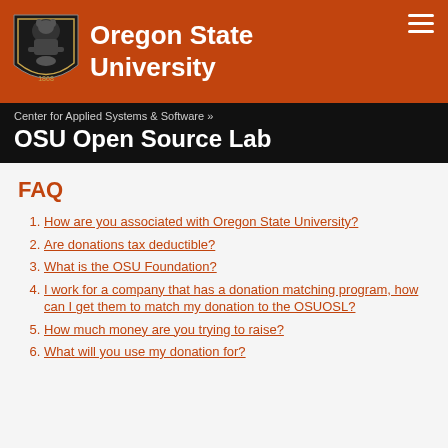[Figure (logo): Oregon State University logo with shield emblem and text 'Oregon State University' on orange background with hamburger menu icon]
Center for Applied Systems & Software »
OSU Open Source Lab
FAQ
How are you associated with Oregon State University?
Are donations tax deductible?
What is the OSU Foundation?
I work for a company that has a donation matching program, how can I get them to match my donation to the OSUOSL?
How much money are you trying to raise?
What will you use my donation for?